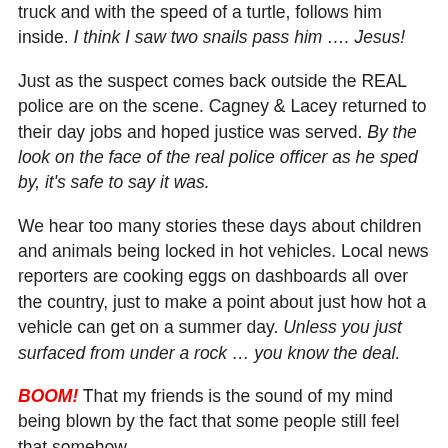truck and with the speed of a turtle, follows him inside. I think I saw two snails pass him …. Jesus!
Just as the suspect comes back outside the REAL police are on the scene. Cagney & Lacey returned to their day jobs and hoped justice was served. By the look on the face of the real police officer as he sped by, it's safe to say it was.
We hear too many stories these days about children and animals being locked in hot vehicles. Local news reporters are cooking eggs on dashboards all over the country, just to make a point about just how hot a vehicle can get on a summer day. Unless you just surfaced from under a rock … you know the deal.
BOOM! That my friends is the sound of my mind being blown by the fact that some people still feel that somehow